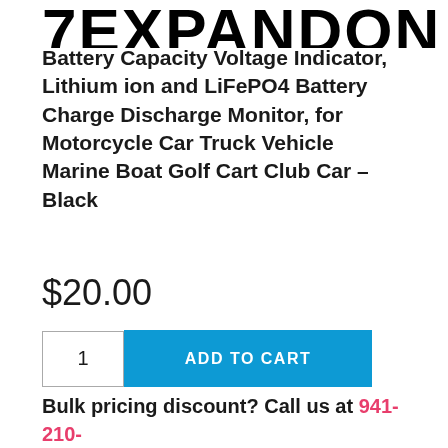7EXPANDON
Battery Capacity Voltage Indicator, Lithium ion and LiFePO4 Battery Charge Discharge Monitor, for Motorcycle Car Truck Vehicle Marine Boat Golf Cart Club Car – Black
$20.00
1  ADD TO CART
-
-
Bulk pricing discount? Call us at 941-210-4921